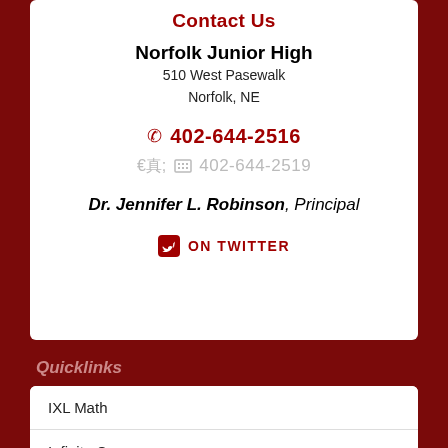Contact Us
Norfolk Junior High
510 West Pasewalk
Norfolk, NE
402-644-2516
402-644-2519
Dr. Jennifer L. Robinson, Principal
ON TWITTER
Quicklinks
IXL Math
Infinite Campus